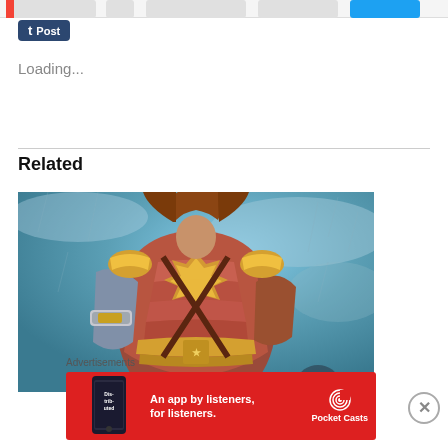[Figure (screenshot): Social sharing bar with Tumblr Post button and other share icons at top of page]
[Figure (other): Tumblr Post button with 't' icon on dark navy background]
Loading...
Related
[Figure (illustration): Wonder Woman character in golden armor with bracelets, in action pose against teal/blue stormy background. Digital fan art showing torso and arms.]
Advertisements
[Figure (screenshot): Pocket Casts advertisement banner. Red background with text 'An app by listeners, for listeners.' and Pocket Casts logo with phone mockup showing 'Distributed' text.]